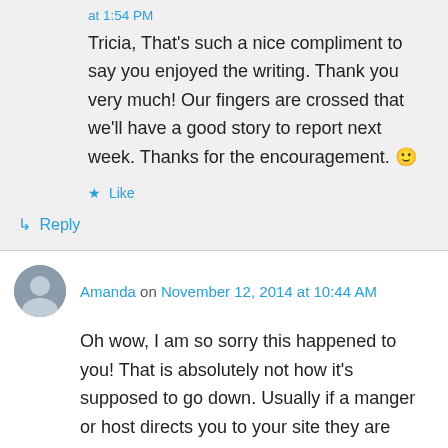at 1:54 PM
Tricia, That's such a nice compliment to say you enjoyed the writing. Thank you very much! Our fingers are crossed that we'll have a good story to report next week. Thanks for the encouragement. 🙂
★ Like
↳ Reply
Amanda on November 12, 2014 at 10:44 AM
Oh wow, I am so sorry this happened to you! That is absolutely not how it's supposed to go down. Usually if a manger or host directs you to your site they are there to help you, not criticize and being in that space to start that is in...